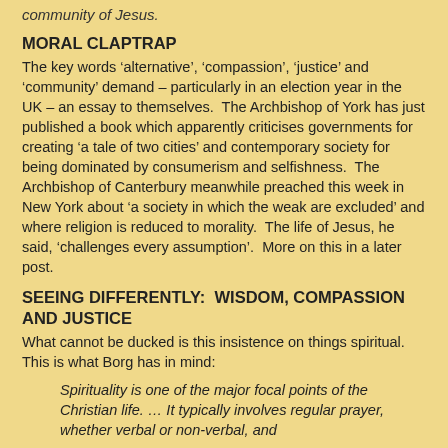community of Jesus.
MORAL CLAPTRAP
The key words ‘alternative’, ‘compassion’, ‘justice’ and ‘community’ demand – particularly in an election year in the UK – an essay to themselves.  The Archbishop of York has just published a book which apparently criticises governments for creating ‘a tale of two cities’ and contemporary society for being dominated by consumerism and selfishness.  The Archbishop of Canterbury meanwhile preached this week in New York about ‘a society in which the weak are excluded’ and where religion is reduced to morality.  The life of Jesus, he said, ‘challenges every assumption’.  More on this in a later post.
SEEING DIFFERENTLY:  WISDOM, COMPASSION AND JUSTICE
What cannot be ducked is this insistence on things spiritual.  This is what Borg has in mind:
Spirituality is one of the major focal points of the Christian life. … It typically involves regular prayer, whether verbal or non-verbal, and